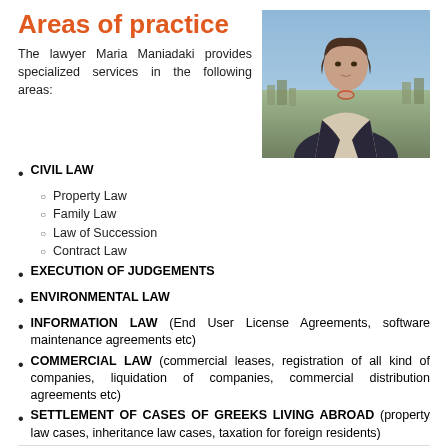Areas of practice
[Figure (photo): Professional headshot of lawyer Maria Maniadaki outdoors with city/landscape in background]
The lawyer Maria Maniadaki provides specialized services in the following areas:
CIVIL LAW
Property Law
Family Law
Law of Succession
Contract Law
EXECUTION OF JUDGEMENTS
ENVIRONMENTAL LAW
INFORMATION LAW (End User License Agreements, software maintenance agreements etc)
COMMERCIAL LAW (commercial leases, registration of all kind of companies, liquidation of companies, commercial distribution agreements etc)
SETTLEMENT OF CASES OF GREEKS LIVING ABROAD (property law cases, inheritance law cases, taxation for foreign residents)
COMMUNICATION ABILITY (EXCEPT FOR GREEK) IN ENGLISH